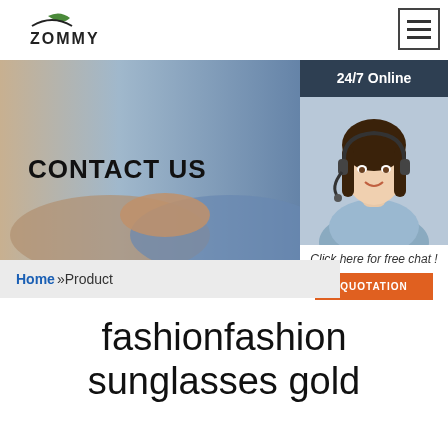[Figure (logo): Zommy logo with leaf and curved line above text ZOMMY]
[Figure (illustration): Hamburger/menu icon with three horizontal lines in a box, top right corner]
[Figure (photo): Banner image showing two people shaking hands, bluish-grey tones, with bold text CONTACT US overlaid on the left]
[Figure (photo): Chat widget panel on right side: dark header '24/7 Online', photo of smiling woman with headset, text 'Click here for free chat!', orange QUOTATION button]
Home »Product
fashionfashion sunglasses gold